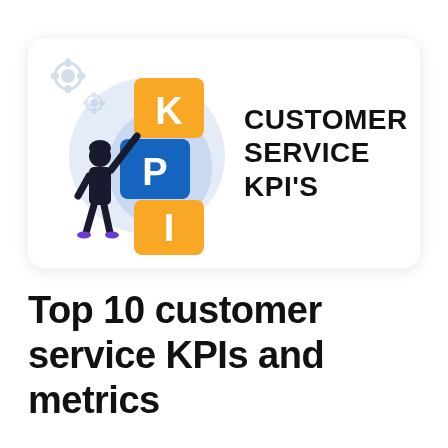[Figure (illustration): Illustration of a person arranging stacked letter blocks spelling KPI (K in orange on top, P in blue in middle, I in orange at bottom). Background features light blue circular shape and gear icons. Text to the right reads CUSTOMER SERVICE KPI'S in bold black. The whole scene is inside a white rounded rectangle card.]
Top 10 customer service KPIs and metrics